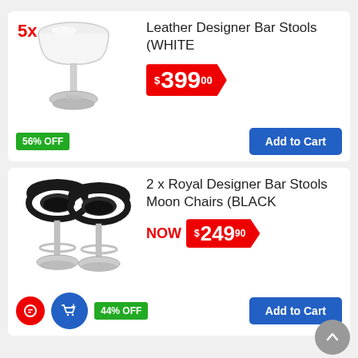[Figure (photo): 5x white leather designer bar stool on chrome base, shown against white background with red 5x quantity badge]
Leather Designer Bar Stools (WHITE
$399.00
56% OFF
Add to Cart
[Figure (photo): 2 black Royal Designer Bar Stools Moon Chairs on chrome bases, shown against white background]
2 x Royal Designer Bar Stools Moon Chairs (BLACK
NOW $249.90
44% OFF
Add to Cart